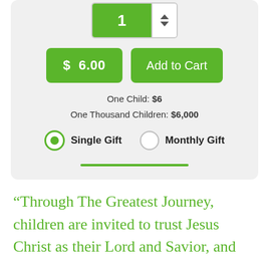[Figure (screenshot): A donation widget UI showing a quantity spinner set to 1, two green buttons ('$ 6.00' and 'Add to Cart'), pricing info ('One Child: $6', 'One Thousand Children: $6,000'), radio buttons for 'Single Gift' (selected) and 'Monthly Gift', and a green divider line, all on a light gray card background.]
“Through The Greatest Journey, children are invited to trust Jesus Christ as their Lord and Savior, and